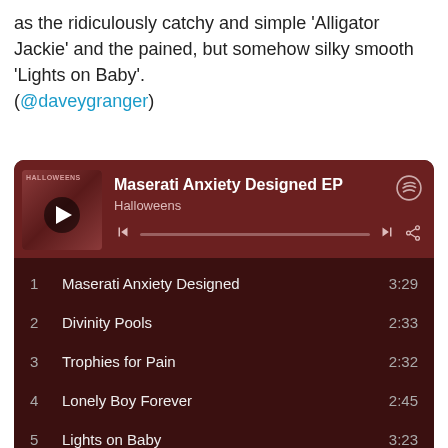as the ridiculously catchy and simple 'Alligator Jackie' and the pained, but somehow silky smooth 'Lights on Baby'. (@daveygranger)
[Figure (screenshot): Spotify embed card showing 'Maserati Anxiety Designed EP' by Halloweens with a tracklist: 1. Maserati Anxiety Designed 3:29, 2. Divinity Pools 2:33, 3. Trophies for Pain 2:32, 4. Lonely Boy Forever 2:45, 5. Lights on Baby 3:23, 6. Alligator Jackie 3:03]